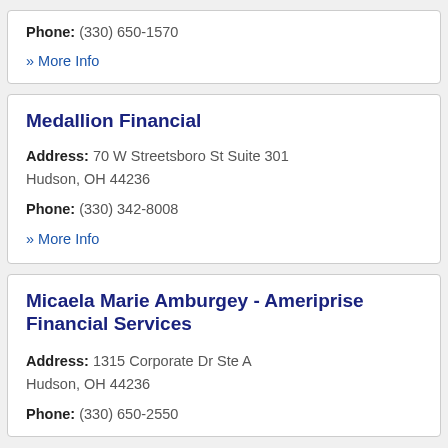Phone: (330) 650-1570
» More Info
Medallion Financial
Address: 70 W Streetsboro St Suite 301 Hudson, OH 44236
Phone: (330) 342-8008
» More Info
Micaela Marie Amburgey - Ameriprise Financial Services
Address: 1315 Corporate Dr Ste A Hudson, OH 44236
Phone: (330) 650-2550